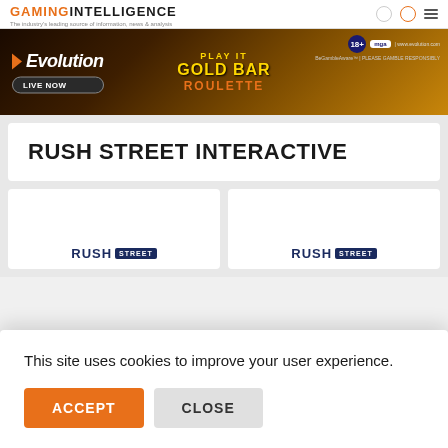GAMING INTELLIGENCE - The industry's leading source of information, news & analysis
[Figure (photo): Evolution Gaming banner advertisement for Gold Bar Roulette with live dealer, golden aesthetic, MGA license badge]
RUSH STREET INTERACTIVE
[Figure (logo): Rush Street logo - left card]
[Figure (logo): Rush Street logo - right card]
This site uses cookies to improve your user experience.
ACCEPT
CLOSE